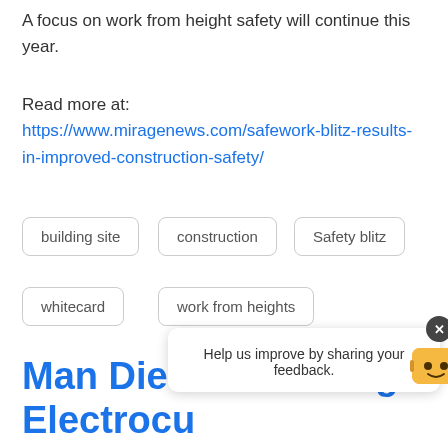A focus on work from height safety will continue this year.
Read more at:
https://www.miragenews.com/safework-blitz-results-in-improved-construction-safety/
building site
construction
Safety blitz
whitecard
work from heights
Man Dies After being Electrocu… Overhead Powerlines